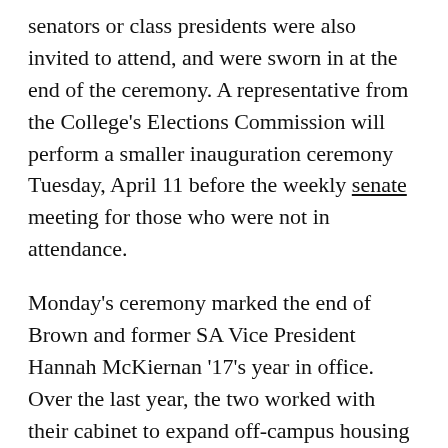senators or class presidents were also invited to attend, and were sworn in at the end of the ceremony. A representative from the College's Elections Commission will perform a smaller inauguration ceremony Tuesday, April 11 before the weekly senate meeting for those who were not in attendance.
Monday's ceremony marked the end of Brown and former SA Vice President Hannah McKiernan '17's year in office. Over the last year, the two worked with their cabinet to expand off-campus housing resources, promote awareness of sexual assault and mental health resources and allocate funding for the Rae Sremmurd concert Sunday, April 9.
Reveley, who opened the ceremony, said that it took a lot to be a good leader, and that he was appreciative of Brown and McKiernan's leadership throughout...